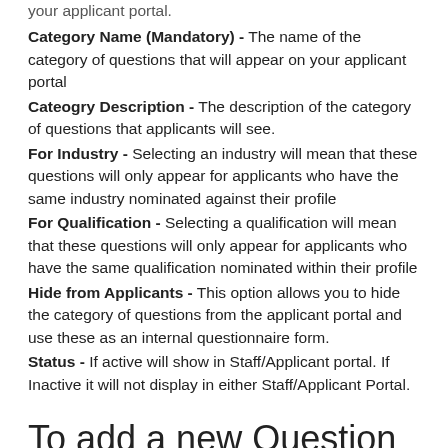your applicant portal.
Category Name (Mandatory) - The name of the category of questions that will appear on your applicant portal
Cateogry Description - The description of the category of questions that applicants will see.
For Industry - Selecting an industry will mean that these questions will only appear for applicants who have the same industry nominated against their profile
For Qualification - Selecting a qualification will mean that these questions will only appear for applicants who have the same qualification nominated within their profile
Hide from Applicants - This option allows you to hide the category of questions from the applicant portal and use these as an internal questionnaire form.
Status - If active will show in Staff/Applicant portal. If Inactive it will not display in either Staff/Applicant Portal.
To add a new Question under a category